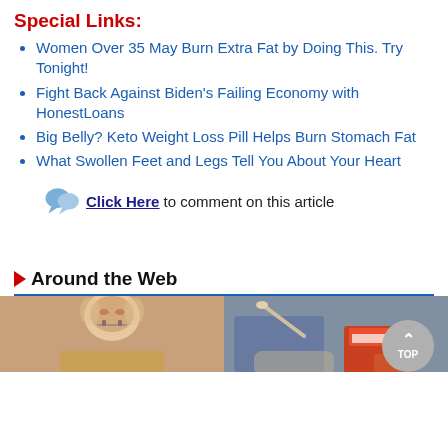Special Links:
Women Over 35 May Burn Extra Fat by Doing This. Try Tonight!
Fight Back Against Biden’s Failing Economy with HonestLoans
Big Belly? Keto Weight Loss Pill Helps Burn Stomach Fat
What Swollen Feet and Legs Tell You About Your Heart
Click Here to comment on this article
Around the Web
[Figure (photo): Elderly man with glasses and white hair, close-up portrait]
[Figure (photo): Person stirring from a box of baking soda with a wooden spoon]